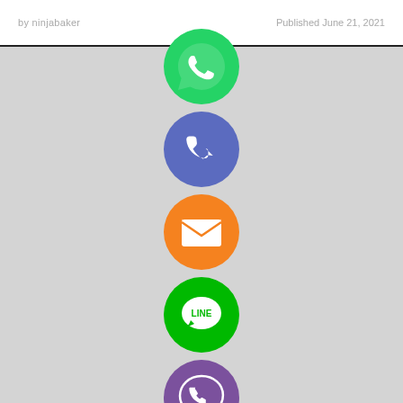by ninjabaker   Published June 21, 2021
[Figure (illustration): A vertical column of social sharing app icons: WhatsApp (green), Phone/Call (purple-blue), Email (orange), LINE (green), Viber (purple), and a close/X button (green). The icons float centered over a gray background section and white sections.]
PHONE NUMBER LIST
Google and Facebook continue to dominate mobile app advertising